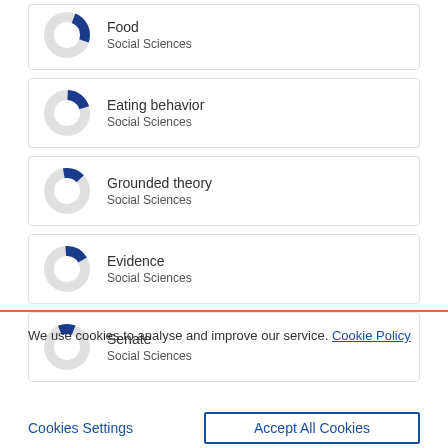[Figure (donut-chart): Small donut chart with dark blue slice, labeled Food / Social Sciences]
[Figure (donut-chart): Small donut chart with dark blue slice, labeled Eating behavior / Social Sciences]
[Figure (donut-chart): Small donut chart with dark blue slice, labeled Grounded theory / Social Sciences]
[Figure (donut-chart): Small donut chart with dark blue slice, labeled Evidence / Social Sciences]
[Figure (donut-chart): Small donut chart with dark blue slice, labeled Senate / Social Sciences]
We use cookies to analyse and improve our service. Cookie Policy
Cookies Settings
Accept All Cookies